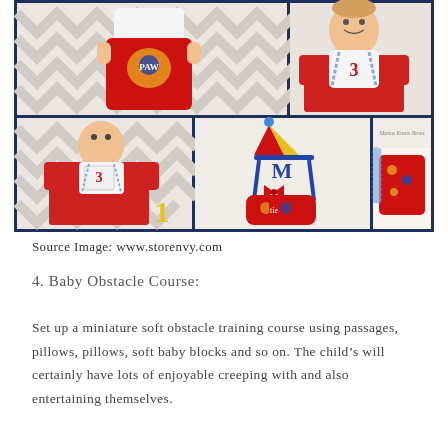[Figure (photo): Collage of baby/toddler wearing PAW Patrol themed birthday outfit with red printed shorts, suspenders, bow tie, party hat, and accessories. Multiple photos showing the outfit pieces and a child wearing them.]
Source Image: www.storenvy.com
4. Baby Obstacle Course:
Set up a miniature soft obstacle training course using passages, pillows, pillows, soft baby blocks and so on. The child’s will certainly have lots of enjoyable creeping with and also entertaining themselves.